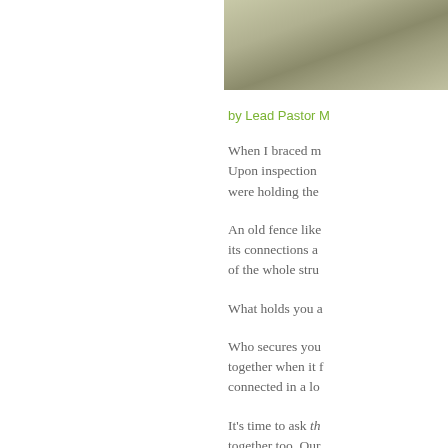[Figure (photo): Partial photo of nature/outdoor scene, partially cropped, showing muted green and gray tones, top right of page]
by Lead Pastor M
When I braced m Upon inspection were holding the
An old fence like its connections a of the whole stru
What holds you a
Who secures you together when it f connected in a lo
It's time to ask th together too. Our the trials threaten